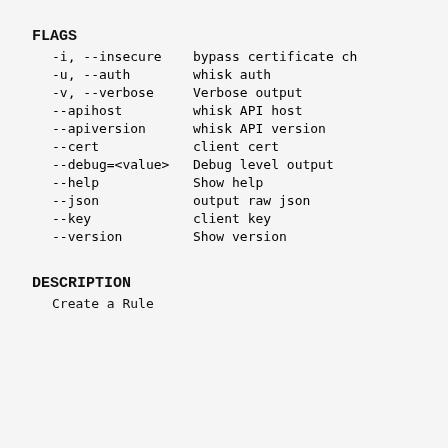FLAGS
-i, --insecure    bypass certificate ch
-u, --auth        whisk auth
-v, --verbose     Verbose output
--apihost         whisk API host
--apiversion      whisk API version
--cert            client cert
--debug=<value>   Debug level output
--help            Show help
--json            output raw json
--key             client key
--version         Show version
DESCRIPTION
Create a Rule